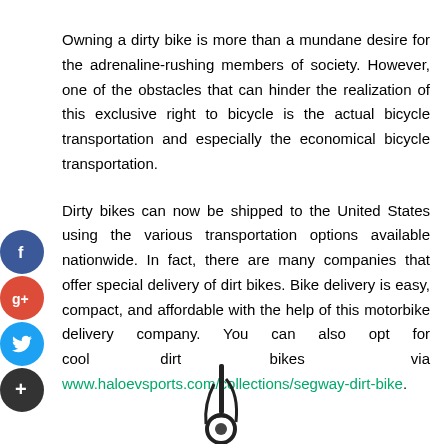Owning a dirty bike is more than a mundane desire for the adrenaline-rushing members of society. However, one of the obstacles that can hinder the realization of this exclusive right to bicycle is the actual bicycle transportation and especially the economical bicycle transportation.
Dirty bikes can now be shipped to the United States using the various transportation options available nationwide. In fact, there are many companies that offer special delivery of dirt bikes. Bike delivery is easy, compact, and affordable with the help of this motorbike delivery company. You can also opt for cool dirt bikes via www.haloevsports.com/collections/segway-dirt-bike.
[Figure (photo): Bottom portion of a dirt bike or similar vehicle, showing the lower frame and wheel area against a white background]